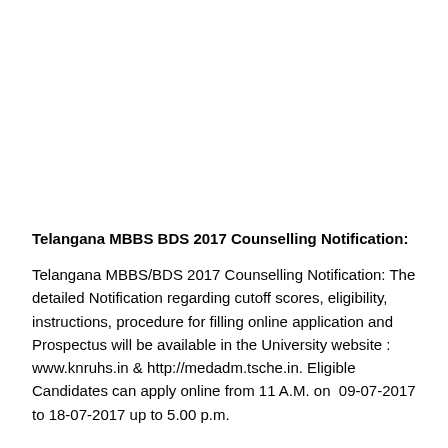Telangana MBBS BDS 2017 Counselling Notification:
Telangana MBBS/BDS 2017 Counselling Notification: The detailed Notification regarding cutoff scores, eligibility, instructions, procedure for filling online application and Prospectus will be available in the University website : www.knruhs.in & http://medadm.tsche.in. Eligible Candidates can apply online from 11 A.M. on  09-07-2017 to 18-07-2017 up to 5.00 p.m.